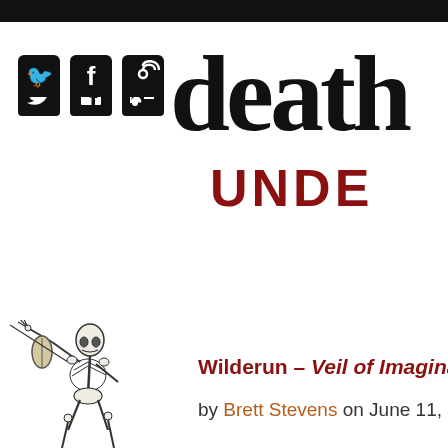death metal underground
[Figure (logo): Social media icons: Twitter, Facebook, RSS feed - white icons on black rounded square backgrounds]
[Figure (illustration): Black and white illustration of a skeleton playing a violin or similar instrument, viewed from below/side angle]
Wilderun – Veil of Imagination
by Brett Stevens on June 11, 2020